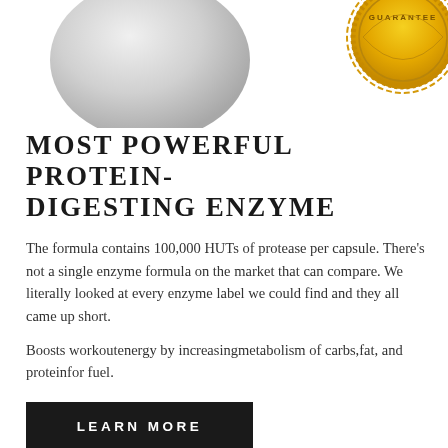[Figure (photo): Partial view of a white supplement bottle (bottom portion visible) with a gold guarantee seal badge in the upper right corner]
MOST POWERFUL PROTEIN-DIGESTING ENZYME
The formula contains 100,000 HUTs of protease per capsule. There's not a single enzyme formula on the market that can compare. We literally looked at every enzyme label we could find and they all came up short.
Boosts workoutenergy by increasingmetabolism of carbs,fat, and proteinfor fuel.
LEARN MORE